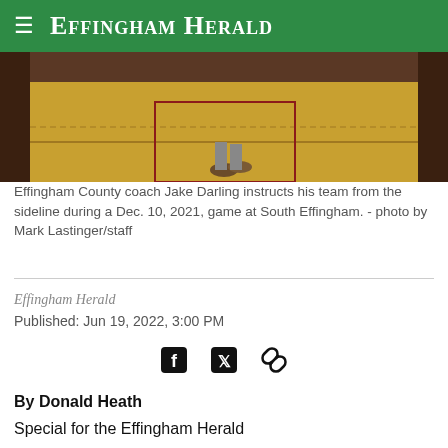Effingham Herald
[Figure (photo): Basketball court floor photo showing feet/shoes of a coach on the sideline, with hardwood floor visible]
Effingham County coach Jake Darling instructs his team from the sideline during a Dec. 10, 2021, game at South Effingham. - photo by Mark Lastinger/staff
Effingham Herald
Published: Jun 19, 2022, 3:00 PM
By Donald Heath
Special for the Effingham Herald